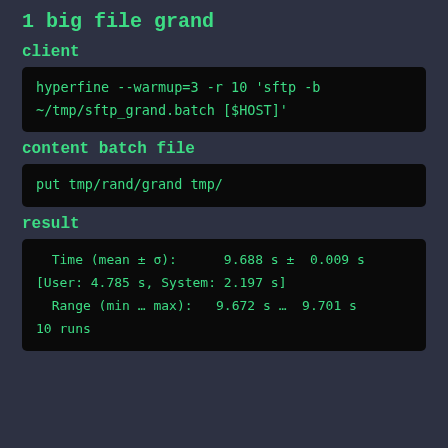1 big file grand
client
hyperfine --warmup=3 -r 10 'sftp -b ~/tmp/sftp_grand.batch [$HOST]'
content batch file
put tmp/rand/grand tmp/
result
Time (mean ± σ):      9.688 s ±  0.009 s
[User: 4.785 s, System: 2.197 s]
  Range (min … max):   9.672 s …  9.701 s
10 runs